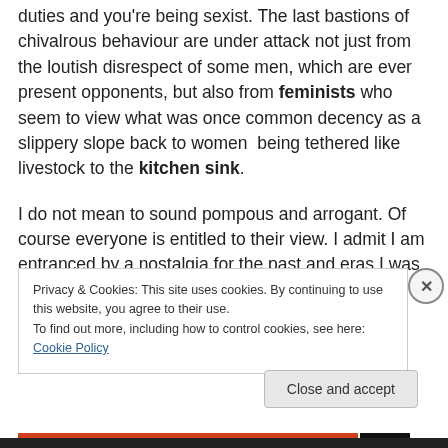duties and you're being sexist. The last bastions of chivalrous behaviour are under attack not just from the loutish disrespect of some men, which are ever present opponents, but also from feminists who seem to view what was once common decency as a slippery slope back to women  being tethered like livestock to the kitchen sink.
I do not mean to sound pompous and arrogant. Of course everyone is entitled to their view. I admit I am entranced by a nostalgia for the past and eras I was never a part of,
Privacy & Cookies: This site uses cookies. By continuing to use this website, you agree to their use.
To find out more, including how to control cookies, see here: Cookie Policy
Close and accept